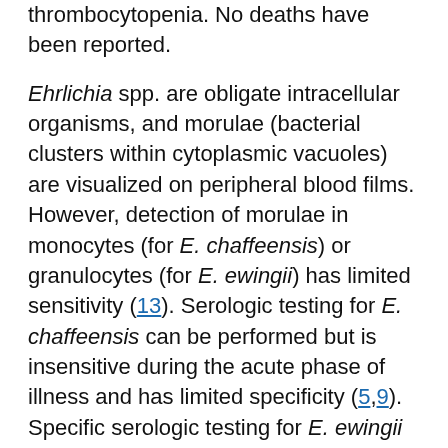thrombocytopenia. No deaths have been reported.
Ehrlichia spp. are obligate intracellular organisms, and morulae (bacterial clusters within cytoplasmic vacuoles) are visualized on peripheral blood films. However, detection of morulae in monocytes (for E. chaffeensis) or granulocytes (for E. ewingii) has limited sensitivity (13). Serologic testing for E. chaffeensis can be performed but is insensitive during the acute phase of illness and has limited specificity (5,9). Specific serologic testing for E. ewingii is not available. The extent of cross-reactivity of serologic tests for E. chaffeensis with E. ewingii is unclear, but use of serologic testing alone might contribute to underreporting of infection with E. ewingii. Thus, diagnosis of infection with E. ewingii is reliant on species-specific molecular testing. The purpose of this study was to determine the